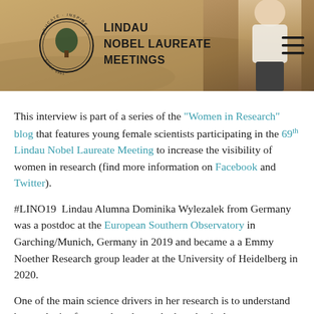[Figure (photo): Header image showing Lindau Nobel Laureate Meetings logo on left with circular emblem and text, hamburger menu icon on right, background shows a person outdoors on sandy/earthy terrain with warm golden tones]
This interview is part of a series of the "Women in Research" blog that features young female scientists participating in the 69th Lindau Nobel Laureate Meeting to increase the visibility of women in research (find more information on Facebook and Twitter).
#LINO19 Lindau Alumna Dominika Wylezalek from Germany was a postdoc at the European Southern Observatory in Garching/Munich, Germany in 2019 and became a a Emmy Noether Research group leader at the University of Heidelberg in 2020.
One of the main science drivers in her research is to understand how galaxies form and evolve and what physical processes are most important at different